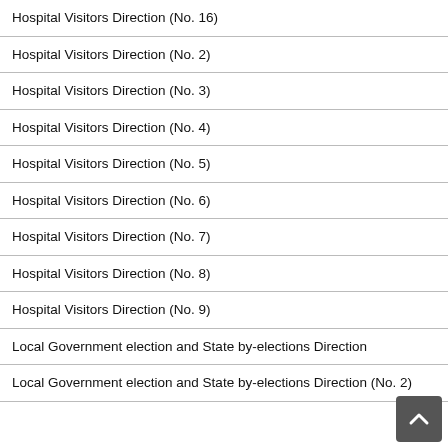Hospital Visitors Direction (No. 16)
Hospital Visitors Direction (No. 2)
Hospital Visitors Direction (No. 3)
Hospital Visitors Direction (No. 4)
Hospital Visitors Direction (No. 5)
Hospital Visitors Direction (No. 6)
Hospital Visitors Direction (No. 7)
Hospital Visitors Direction (No. 8)
Hospital Visitors Direction (No. 9)
Local Government election and State by-elections Direction
Local Government election and State by-elections Direction (No. 2)